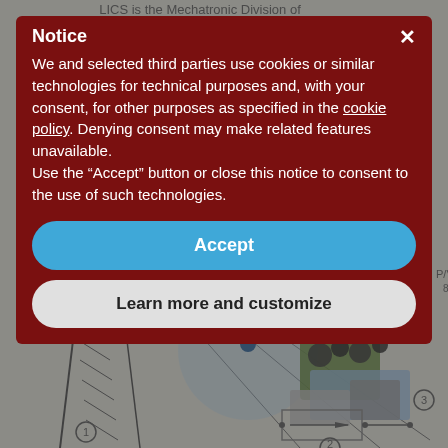[Figure (screenshot): Background engineering diagram showing a crane schematic/technical drawing with hydraulic component overlay, partially visible behind a cookie consent modal. The diagram includes labeled components P, LS, P/V, N and numbered elements 1, 2, 3, 6, 7, 8, 10. A 3D render of a hydraulic pump unit is visible on the right side.]
Notice
We and selected third parties use cookies or similar technologies for technical purposes and, with your consent, for other purposes as specified in the cookie policy. Denying consent may make related features unavailable.
Use the “Accept” button or close this notice to consent to the use of such technologies.
Accept
Learn more and customize